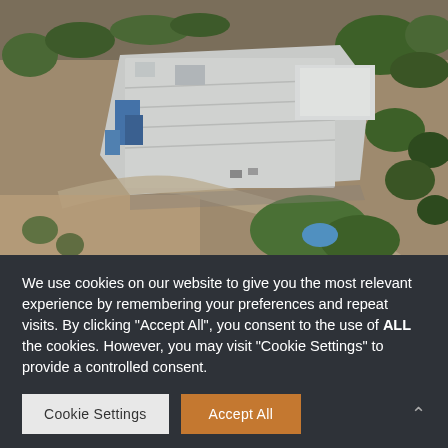[Figure (photo): Aerial drone photograph of an industrial/agricultural facility with large white warehouse buildings and metal roofing, surrounded by arid desert landscape with sparse trees and vegetation, sandy terrain, and some green landscaped areas with a pool visible in the lower right.]
We use cookies on our website to give you the most relevant experience by remembering your preferences and repeat visits. By clicking "Accept All", you consent to the use of ALL the cookies. However, you may visit "Cookie Settings" to provide a controlled consent.
Cookie Settings
Accept All